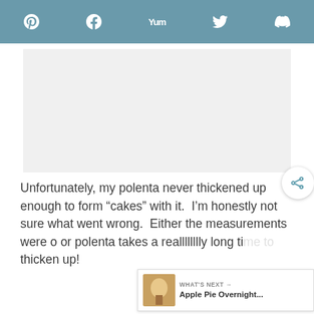Pinterest  Facebook  Yum  Twitter  Mix
[Figure (photo): Large image placeholder area (gray/white rectangle)]
Unfortunately, my polenta never thickened up enough to form “cakes” with it.  I’m honestly not sure what went wrong.  Either the measurements were o or polenta takes a realllllllly long time to thicken up!